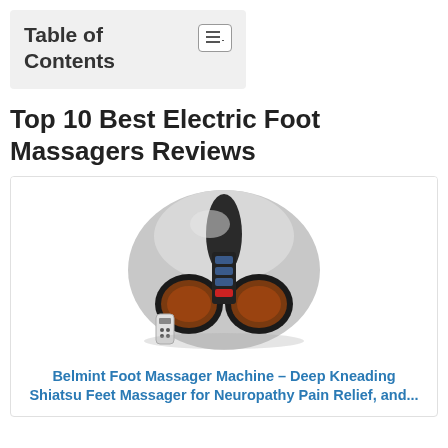Table of Contents
Top 10 Best Electric Foot Massagers Reviews
[Figure (photo): Electric foot massager machine product photo — a silver/chrome dome-shaped device with two foot compartments lined with brown/orange mesh, control panel in the center, and a small remote control in the foreground.]
Belmint Foot Massager Machine – Deep Kneading Shiatsu Feet Massager for Neuropathy Pain Relief, and...